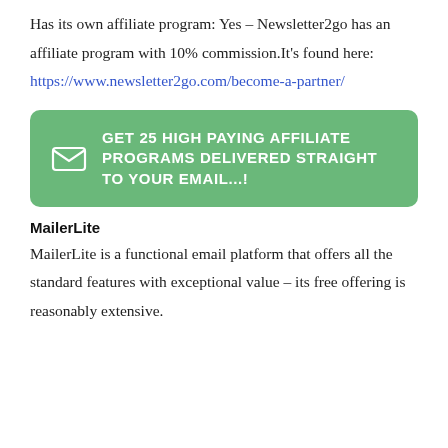Has its own affiliate program: Yes – Newsletter2go has an affiliate program with 10% commission.It's found here: https://www.newsletter2go.com/become-a-partner/
[Figure (infographic): Green rounded rectangle CTA banner with envelope icon and white uppercase text: GET 25 HIGH PAYING AFFILIATE PROGRAMS DELIVERED STRAIGHT TO YOUR EMAIL...!]
MailerLite
MailerLite is a functional email platform that offers all the standard features with exceptional value – its free offering is reasonably extensive.